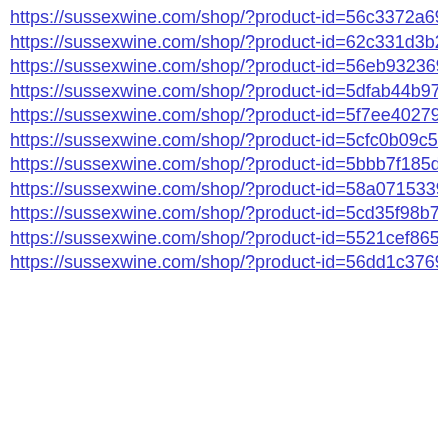https://sussexwine.com/shop/?product-id=56c3372a697…
https://sussexwine.com/shop/?product-id=62c331d3b2c…
https://sussexwine.com/shop/?product-id=56eb9323697…
https://sussexwine.com/shop/?product-id=5dfab44b9732…
https://sussexwine.com/shop/?product-id=5f7ee40279a1…
https://sussexwine.com/shop/?product-id=5cfc0b09c577…
https://sussexwine.com/shop/?product-id=5bbb7f185d76…
https://sussexwine.com/shop/?product-id=58a0715339e…
https://sussexwine.com/shop/?product-id=5cd35f98b7cf…
https://sussexwine.com/shop/?product-id=5521cef86561…
https://sussexwine.com/shop/?product-id=56dd1c37697…